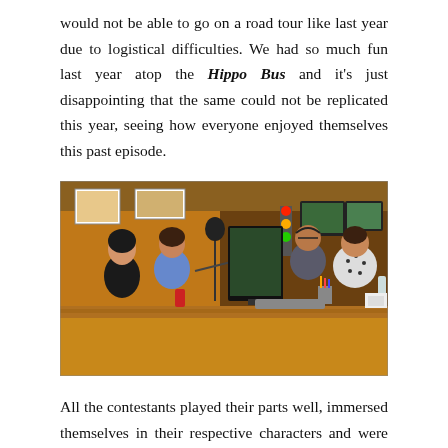would not be able to go on a road tour like last year due to logistical difficulties. We had so much fun last year atop the Hippo Bus and it's just disappointing that the same could not be replicated this year, seeing how everyone enjoyed themselves this past episode.
[Figure (photo): People sitting around a table in a radio studio with microphones, computers, and broadcasting equipment. Four people visible, two on each side of the table.]
All the contestants played their parts well, immersed themselves in their respective characters and were more confident as compared to the qualifying rounds, where some